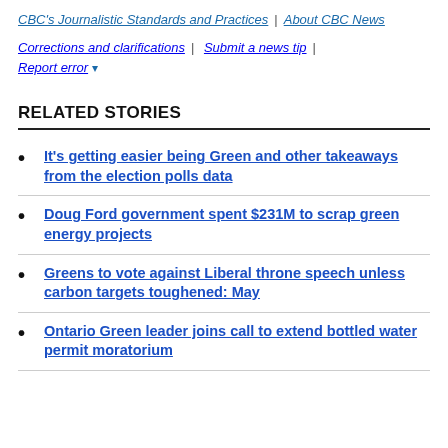CBC's Journalistic Standards and Practices | About CBC News
Corrections and clarifications | Submit a news tip | Report error ▾
RELATED STORIES
It's getting easier being Green and other takeaways from the election polls data
Doug Ford government spent $231M to scrap green energy projects
Greens to vote against Liberal throne speech unless carbon targets toughened: May
Ontario Green leader joins call to extend bottled water permit moratorium